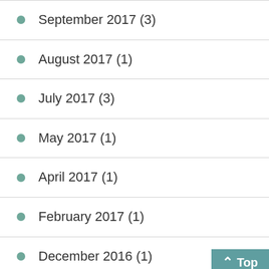September 2017 (3)
August 2017 (1)
July 2017 (3)
May 2017 (1)
April 2017 (1)
February 2017 (1)
December 2016 (1)
November 2016 (2)